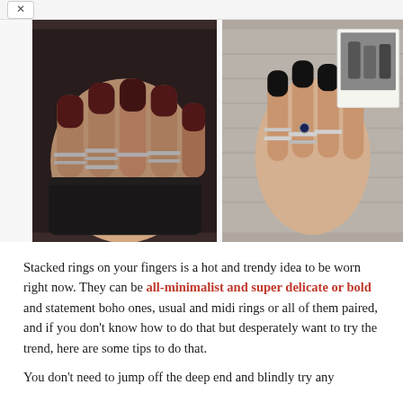[Figure (photo): Two side-by-side photos of hands wearing multiple stacked rings. Left photo: hands with dark burgundy nail polish holding a dark cup, adorned with multiple silver stacked rings including midi rings. Right photo: hand with black nail polish holding a polaroid photo, wearing multiple silver rings.]
Stacked rings on your fingers is a hot and trendy idea to be worn right now. They can be all-minimalist and super delicate or bold and statement boho ones, usual and midi rings or all of them paired, and if you don't know how to do that but desperately want to try the trend, here are some tips to do that.
You don't need to jump off the deep end and blindly try any